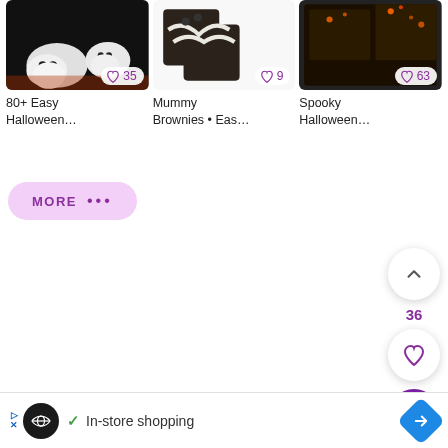[Figure (screenshot): Three food/recipe cards in a row showing Halloween treats. First card: ghost-shaped candy/truffles on dark plate. Second card: mummy brownies with white frosting. Third card: spooky Halloween brownies with orange sprinkles. Each card has a heart/like badge with counts 35, 9, and 63 respectively.]
80+ Easy Halloween…
Mummy Brownies • Eas…
Spooky Halloween…
[Figure (screenshot): A rounded pill-shaped button with pink/lavender background reading MORE with three dots, indicating more results]
[Figure (screenshot): Floating action buttons on right side: up-chevron button (white circle), number 36 in purple, heart button (white circle), and purple search/magnifying glass FAB]
36
[Figure (screenshot): Advertisement banner at bottom: triangle play icon and X in blue, black circle with infinity logo, green checkmark, text 'In-store shopping', blue diamond arrow icon on right]